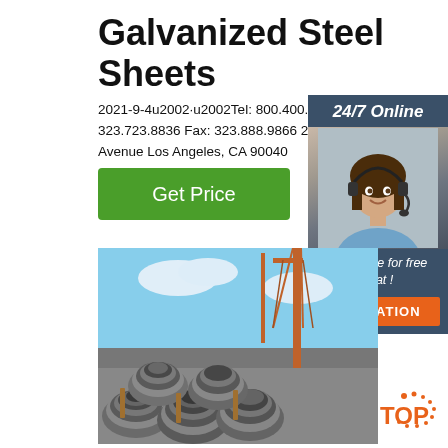Galvanized Steel Sheets
2021-9-4u2002·u2002Tel: 800.400.7833 323.723.8836 Fax: 323.888.9866 2187 S. Garfield Avenue Los Angeles, CA 90040
Get Price
[Figure (infographic): 24/7 Online chat support widget with female agent photo, 'Click here for free chat!' text and orange QUOTATION button on dark blue panel]
[Figure (photo): Steel wire rod coils stacked outdoors with construction crane in background]
[Figure (logo): TOP logo with orange dots and text in bottom right corner]